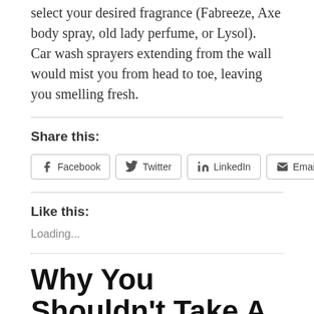select your desired fragrance (Fabreeze, Axe body spray, old lady perfume, or Lysol).  Car wash sprayers extending from the wall would mist you from head to toe, leaving you smelling fresh.
Share this:
[Figure (other): Social share buttons: Facebook, Twitter, LinkedIn, Email, More]
Like this:
Loading...
Why You Shouldn't Take A Girl To Perkins For A First